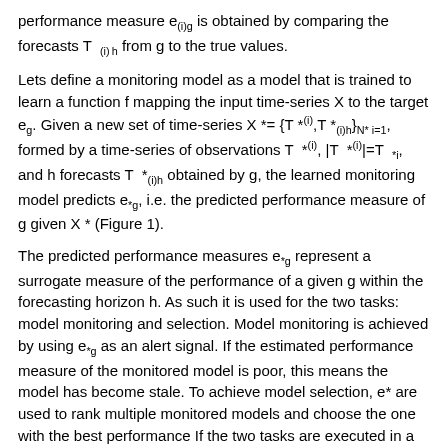performance measure e_(i)g is obtained by comparing the forecasts T (i)h from g to the true values.
Lets define a monitoring model as a model that is trained to learn a function f mapping the input time-series X to the target e_g. Given a new set of time-series X *= {T *(i),T *(i)h}_{N* i=1}, formed by a time-series of observations T *(i), |T *(i)|=T *i, and h forecasts T *(i)h obtained by g, the learned monitoring model predicts e*g, i.e. the predicted performance measure of g given X * (Figure 1).
The predicted performance measures e*g represent a surrogate measure of the performance of a given g within the forecasting horizon h. As such it is used for the two tasks: model monitoring and selection. Model monitoring is achieved by using e*g as an alert signal. If the estimated performance measure of the monitored model is poor, this means the model has become stale. To achieve model selection, e* are used to rank multiple monitored models and choose the one with the best performance If the two tasks are executed in a continuous fashion over time, it is